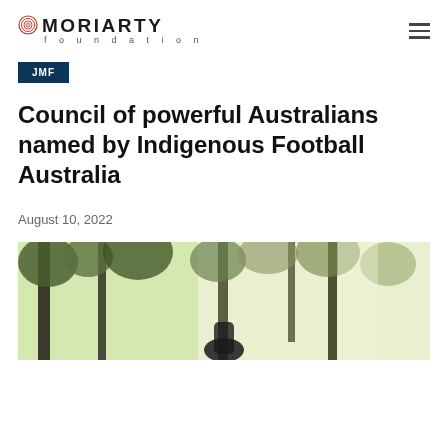MORIARTY Foundation
JMF
Council of powerful Australians named by Indigenous Football Australia
August 10, 2022
[Figure (photo): Outdoor photo showing trees with greenery and a person partially visible at the bottom, bright daylight background]